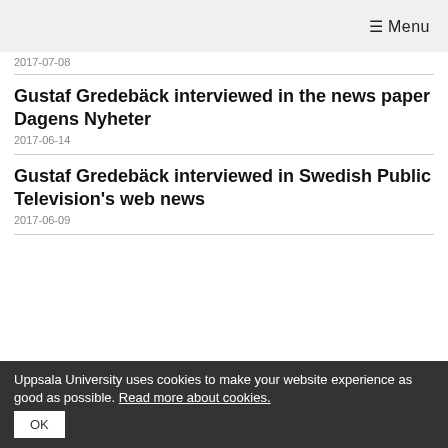≡ Menu
2017-07-08
Gustaf Gredebäck interviewed in the news paper Dagens Nyheter
2017-06-14
Gustaf Gredebäck interviewed in Swedish Public Television's web news
2017-06-09
Uppsala University uses cookies to make your website experience as good as possible. Read more about cookies. OK